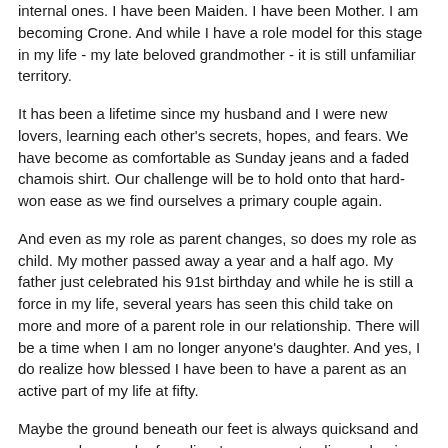internal ones. I have been Maiden. I have been Mother. I am becoming Crone. And while I have a role model for this stage in my life - my late beloved grandmother - it is still unfamiliar territory.
It has been a lifetime since my husband and I were new lovers, learning each other's secrets, hopes, and fears. We have become as comfortable as Sunday jeans and a faded chamois shirt. Our challenge will be to hold onto that hard-won ease as we find ourselves a primary couple again.
And even as my role as parent changes, so does my role as child. My mother passed away a year and a half ago. My father just celebrated his 91st birthday and while he is still a force in my life, several years has seen this child take on more and more of a parent role in our relationship. There will be a time when I am no longer anyone's daughter. And yes, I do realize how blessed I have been to have a parent as an active part of my life at fifty.
Maybe the ground beneath our feet is always quicksand and we spend so much of our lives' energy pretending or hoping